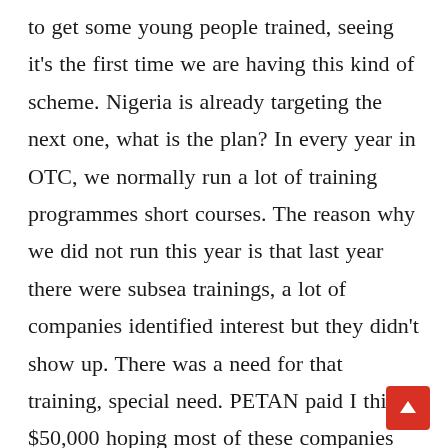to get some young people trained, seeing it's the first time we are having this kind of scheme. Nigeria is already targeting the next one, what is the plan? In every year in OTC, we normally run a lot of training programmes short courses. The reason why we did not run this year is that last year there were subsea trainings, a lot of companies identified interest but they didn't show up. There was a need for that training, special need. PETAN paid I think $50,000 hoping most of these companies and the people they are bringing can offset it but they didn't show up. They ran $50,000 down the drain. So in skill gap trainings there has to be genuine desire, no matter what you